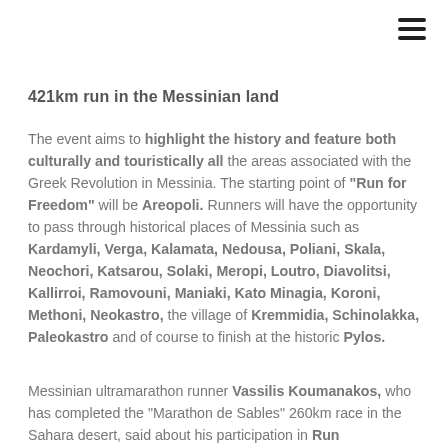☰
421km run in the Messinian land
The event aims to highlight the history and feature both culturally and touristically all the areas associated with the Greek Revolution in Messinia. The starting point of "Run for Freedom" will be Areopoli. Runners will have the opportunity to pass through historical places of Messinia such as Kardamyli, Verga, Kalamata, Nedousa, Poliani, Skala, Neochori, Katsarou, Solaki, Meropi, Loutro, Diavolitsi, Kallirroi, Ramovouni, Maniaki, Kato Minagia, Koroni, Methoni, Neokastro, the village of Kremmidia, Schinolakka, Paleokastro and of course to finish at the historic Pylos.
Messinian ultramarathon runner Vassilis Koumanakos, who has completed the "Marathon de Sables" 260km race in the Sahara desert, said about his participation in Run